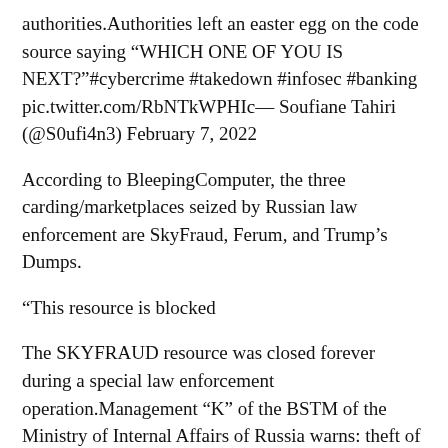authorities.Authorities left an easter egg on the code source saying “WHICH ONE OF YOU IS NEXT?”#cybercrime #takedown #infosec #banking pic.twitter.com/RbNTkWPHIc— Soufiane Tahiri (@S0ufi4n3) February 7, 2022
According to BleepingComputer, the three carding/marketplaces seized by Russian law enforcement are SkyFraud, Ferum, and Trump’s Dumps.
“This resource is blocked
The SKYFRAUD resource was closed forever during a special law enforcement operation.Management “K” of the BSTM of the Ministry of Internal Affairs of Russia warns: theft of funds from bank cards is illegal!” reads the message displayed on the seized websites.“Art. 187 of the Criminal Code of the Russian